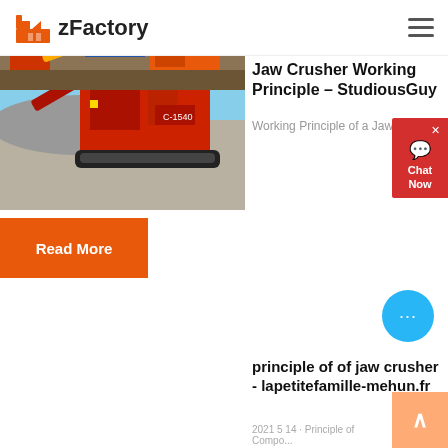zFactory
[Figure (photo): Red mobile jaw crusher machine with gravel in background]
Jaw Crusher Working Principle – StudiousGuy
Working Principle of a Jaw Cr...
Read More
[Figure (photo): Industrial crushing plant with orange machinery and conveyor belts]
principle of of jaw crusher - lapetitefamille-mehun.fr
2021 5 14 · Principle of Compo...